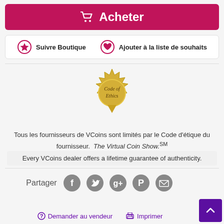Acheter
Suivre Boutique   Ajouter à la liste de souhaits
[Figure (illustration): Gold Code of Ethics seal badge with star burst border and downward pointing ribbon]
Tous les fournisseurs de VCoins sont limités par le Code d'étique du fournisseur. The Virtual Coin Show.SM
Every VCoins dealer offers a lifetime guarantee of authenticity.
Partager
Demander au vendeur   Imprimer